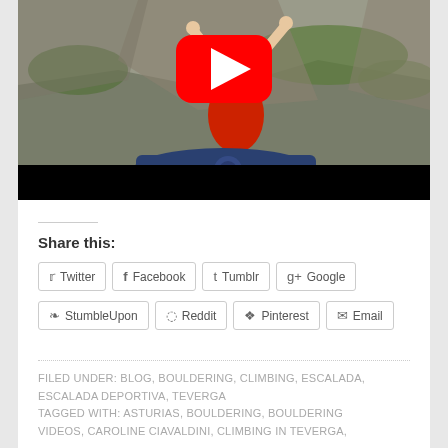[Figure (screenshot): YouTube video thumbnail showing a rock climber in a red shirt ascending a cliff face, with a blue crash pad visible below. A large red YouTube play button overlay is centered on the image. The bottom portion of the thumbnail is a black letterbox bar.]
Share this:
Twitter  Facebook  Tumblr  Google+  StumbleUpon  Reddit  Pinterest  Email
FILED UNDER: BLOG, BOULDERING, CLIMBING, ESCALADA, ESCALADA DEPORTIVA, TEVERGA
TAGGED WITH: ASTURIAS, BOULDERING, BOULDERING VIDEOS, CAROLINE CIAVALDINI, CLIMBING IN TEVERGA,